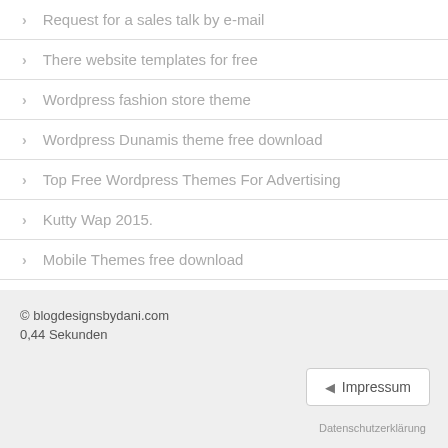Request for a sales talk by e-mail
There website templates for free
Wordpress fashion store theme
Wordpress Dunamis theme free download
Top Free Wordpress Themes For Advertising
Kutty Wap 2015.
Mobile Themes free download
Reactive Blog
Faster online shopping sites
© blogdesignsbydani.com
0,44 Sekunden
Impressum
Datenschutzerklärung